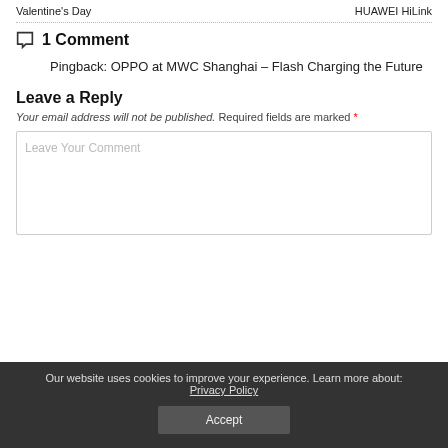Valentine's Day    HUAWEI HiLink
1 Comment
Pingback: OPPO at MWC Shanghai – Flash Charging the Future
Leave a Reply
Your email address will not be published. Required fields are marked *
Leave Your Comment
Our website uses cookies to improve your experience. Learn more about: Privacy Policy Accept